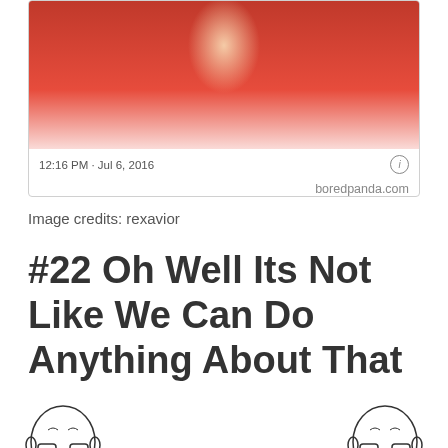[Figure (screenshot): Screenshot of a tweet or social media post showing a woman in a red blazer, timestamp 12:16 PM · Jul 6, 2016, with info icon and boredpanda.com source label]
Image credits: rexavior
#22 Oh Well Its Not Like We Can Do Anything About That
[Figure (illustration): Meme image with 'Americans' label at top, two crying wojak faces on either side, and speech bubble text 'noooo, our founding fathers were racist!!! noooo, they']